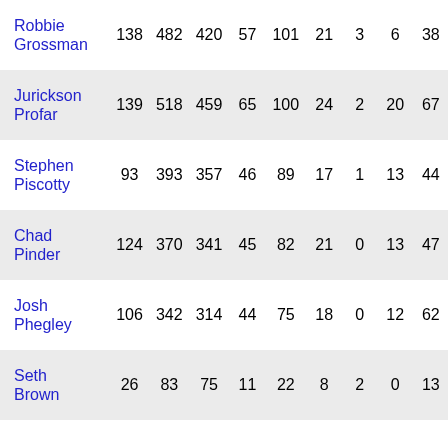| Player | G | PA | AB | R | H | 2B | 3B | HR | RBI |
| --- | --- | --- | --- | --- | --- | --- | --- | --- | --- |
| Robbie Grossman | 138 | 482 | 420 | 57 | 101 | 21 | 3 | 6 | 38 |
| Jurickson Profar | 139 | 518 | 459 | 65 | 100 | 24 | 2 | 20 | 67 |
| Stephen Piscotty | 93 | 393 | 357 | 46 | 89 | 17 | 1 | 13 | 44 |
| Chad Pinder | 124 | 370 | 341 | 45 | 82 | 21 | 0 | 13 | 47 |
| Josh Phegley | 106 | 342 | 314 | 44 | 75 | 18 | 0 | 12 | 62 |
| Seth Brown | 26 | 83 | 75 | 11 | 22 | 8 | 2 | 0 | 13 |